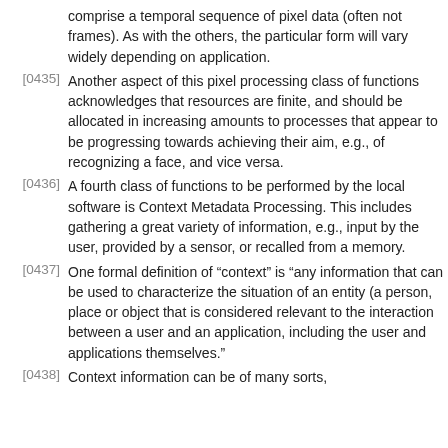comprise a temporal sequence of pixel data (often not frames). As with the others, the particular form will vary widely depending on application.
[0435] Another aspect of this pixel processing class of functions acknowledges that resources are finite, and should be allocated in increasing amounts to processes that appear to be progressing towards achieving their aim, e.g., of recognizing a face, and vice versa.
[0436] A fourth class of functions to be performed by the local software is Context Metadata Processing. This includes gathering a great variety of information, e.g., input by the user, provided by a sensor, or recalled from a memory.
[0437] One formal definition of “context” is “any information that can be used to characterize the situation of an entity (a person, place or object that is considered relevant to the interaction between a user and an application, including the user and applications themselves.”
[0438] Context information can be of many sorts,